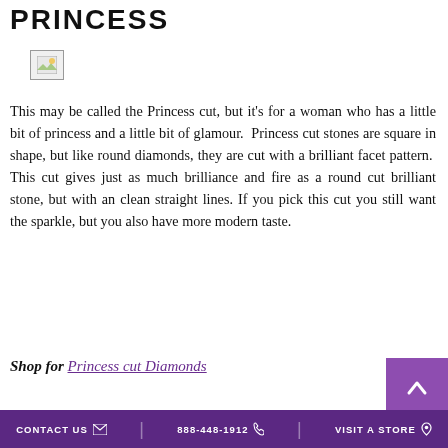PRINCESS
[Figure (photo): Small broken/placeholder image icon in the upper left area]
This may be called the Princess cut, but it's for a woman who has a little bit of princess and a little bit of glamour. Princess cut stones are square in shape, but like round diamonds, they are cut with a brilliant facet pattern. This cut gives just as much brilliance and fire as a round cut brilliant stone, but with an clean straight lines. If you pick this cut you still want the sparkle, but you also have more modern taste.
Shop for Princess cut Diamonds
CONTACT US  888-448-1912  VISIT A STORE